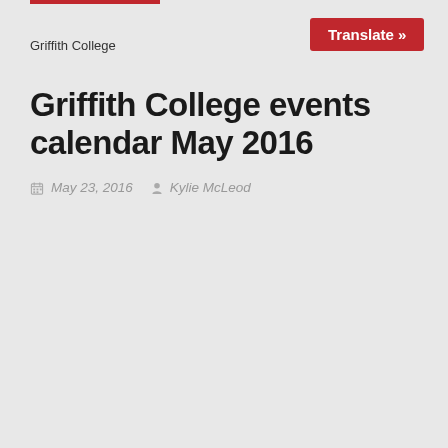Griffith College
Translate »
Griffith College events calendar May 2016
May 23, 2016  Kylie McLeod